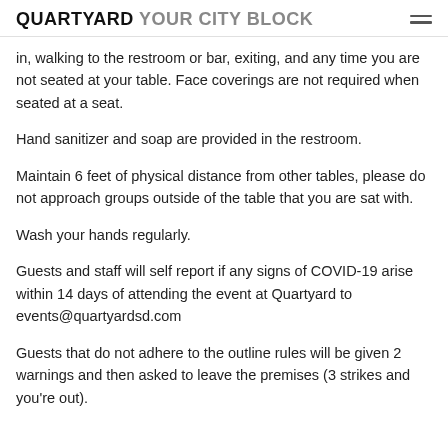QUARTYARD YOUR CITY BLOCK
in, walking to the restroom or bar, exiting, and any time you are not seated at your table. Face coverings are not required when seated at a seat.
Hand sanitizer and soap are provided in the restroom.
Maintain 6 feet of physical distance from other tables, please do not approach groups outside of the table that you are sat with.
Wash your hands regularly.
Guests and staff will self report if any signs of COVID-19 arise within 14 days of attending the event at Quartyard to events@quartyardsd.com
Guests that do not adhere to the outline rules will be given 2 warnings and then asked to leave the premises (3 strikes and you're out).